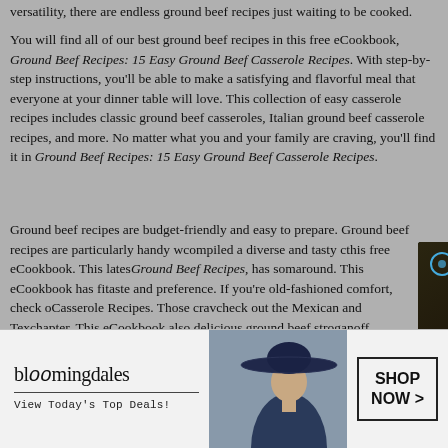versatility, there are endless ground beef recipes just waiting to be cooked.
You will find all of our best ground beef recipes in this free eCookbook, Ground Beef Recipes: 15 Easy Ground Beef Casserole Recipes. With step-by-step instructions, you'll be able to make a satisfying and flavorful meal that everyone at your dinner table will love. This collection of easy casserole recipes includes classic ground beef casseroles, Italian ground beef casserole recipes, and more. No matter what you and your family are craving, you'll find it in Ground Beef Recipes: 15 Easy Ground Beef Casserole Recipes.
Ground beef recipes are budget-friendly and easy to prepare. Ground beef recipes are particularly handy w... compiled a diverse and tasty c... this free eCookbook. This lates... Ground Beef Recipes, has som... around. This eCookbook has fi... taste and preference. If you're old-fashioned comfort, check o... Casserole Recipes. Those crav... check out the Mexican and Tex... chapter. This eCookbook also ... delicious ground beef stroganoff casseroles.
[Figure (screenshot): Video overlay showing a dark background with blue play button bars and triangle, text reading 'CHEESY TATORTOT CASSEROLE', mute button and target icon.]
[Figure (photo): Advertisement banner for Bloomingdale's showing logo, tagline 'View Today's Top Deals!', woman with wide-brim hat, and 'SHOP NOW >' button.]